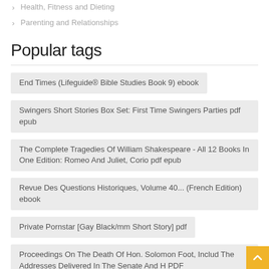Health, Fitness and Dieting
Parenting and Relationships
Popular tags
End Times (Lifeguide® Bible Studies Book 9) ebook
Swingers Short Stories Box Set: First Time Swingers Parties pdf epub
The Complete Tragedies Of William Shakespeare - All 12 Books In One Edition: Romeo And Juliet, Corio pdf epub
Revue Des Questions Historiques, Volume 40... (French Edition) ebook
Private Pornstar [Gay Black/mm Short Story] pdf
Proceedings On The Death Of Hon. Solomon Foot, Includ The Addresses Delivered In The Senate And H PDF